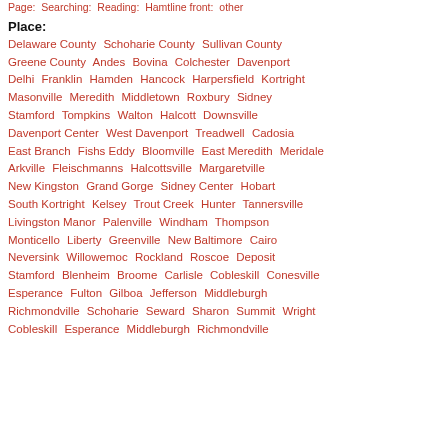Page: ... Searching: Reading: Hamtline front: ... other
Place:
Delaware County   Schoharie County   Sullivan County
Greene County   Andes   Bovina   Colchester   Davenport
Delhi   Franklin   Hamden   Hancock   Harpersfield   Kortright
Masonville   Meredith   Middletown   Roxbury   Sidney
Stamford   Tompkins   Walton   Halcott   Downsville
Davenport Center   West Davenport   Treadwell   Cadosia
East Branch   Fishs Eddy   Bloomville   East Meredith   Meridale
Arkville   Fleischmanns   Halcottsville   Margaretville
New Kingston   Grand Gorge   Sidney Center   Hobart
South Kortright   Kelsey   Trout Creek   Hunter   Tannersville
Livingston Manor   Palenville   Windham   Thompson
Monticello   Liberty   Greenville   New Baltimore   Cairo
Neversink   Willowemoc   Rockland   Roscoe   Deposit
Stamford   Blenheim   Broome   Carlisle   Cobleskill   Conesville
Esperance   Fulton   Gilboa   Jefferson   Middleburgh
Richmondville   Schoharie   Seward   Sharon   Summit   Wright
Cobleskill   Esperance   Middleburgh   Richmondville